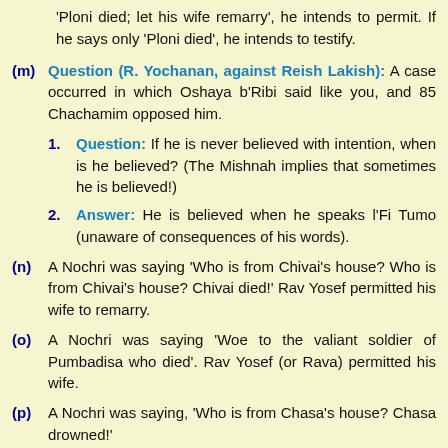'Ploni died; let his wife remarry', he intends to permit. If he says only 'Ploni died', he intends to testify.
(m) Question (R. Yochanan, against Reish Lakish): A case occurred in which Oshaya b'Ribi said like you, and 85 Chachamim opposed him.
1. Question: If he is never believed with intention, when is he believed? (The Mishnah implies that sometimes he is believed!)
2. Answer: He is believed when he speaks l'Fi Tumo (unaware of consequences of his words).
(n) A Nochri was saying 'Who is from Chivai's house? Who is from Chivai's house? Chivai died!' Rav Yosef permitted his wife to remarry.
(o) A Nochri was saying 'Woe to the valiant soldier of Pumbadisa who died'. Rav Yosef (or Rava) permitted his wife.
(p) A Nochri was saying, 'Who is from Chasa's house? Chasa drowned!'